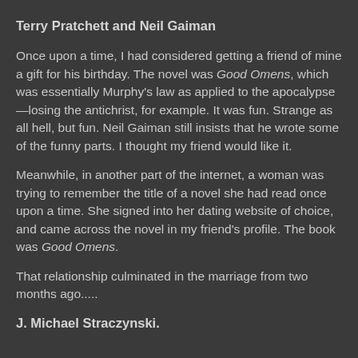Terry Pratchett and Neil Gaiman
Once upon a time, I had considered getting a friend of mine a gift for his birthday. The novel was Good Omens, which was essentially Murphy's law as applied to the apocalypse—losing the antichrist, for example. It was fun. Strange as all hell, but fun. Neil Gaiman still insists that he wrote some of the funny parts. I thought my friend would like it.
Meanwhile, in another part of the internet, a woman was trying to remember the title of a novel she had read once upon a time. She signed into her dating website of choice, and came across the novel in my friend's profile. The book was Good Omens.
That relationship culminated in the marriage from two months ago.....
J. Michael Straczynski.